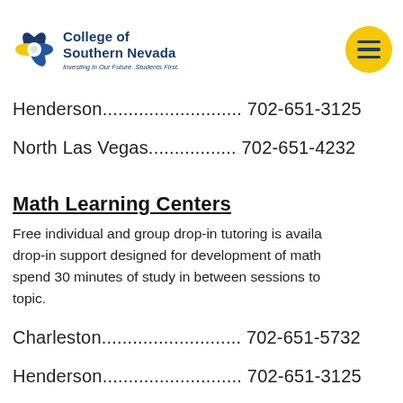[Figure (logo): College of Southern Nevada logo with text 'College of Southern Nevada' and tagline 'Investing in Our Future. Students First.' and a yellow hamburger menu button in the top right corner]
Henderson........................... 702-651-3125
North Las Vegas................. 702-651-4232
Math Learning Centers
Free individual and group drop-in tutoring is available drop-in support designed for development of math spend 30 minutes of study in between sessions to topic.
Charleston........................... 702-651-5732
Henderson........................... 702-651-3125